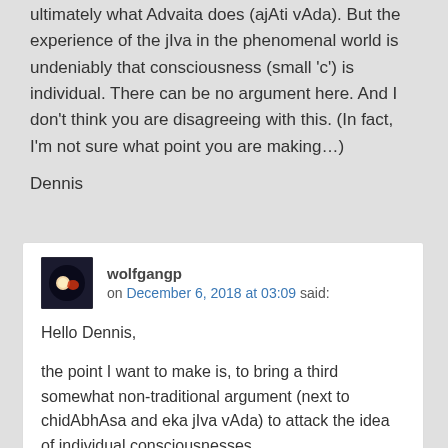ultimately what Advaita does (ajAti vAda). But the experience of the jIva in the phenomenal world is undeniably that consciousness (small 'c') is individual. There can be no argument here. And I don't think you are disagreeing with this. (In fact, I'm not sure what point you are making…)
Dennis
wolfgangp on December 6, 2018 at 03:09 said:
Hello Dennis,
the point I want to make is, to bring a third somewhat non-traditional argument (next to chidAbhAsa and eka jIva vAda) to attack the idea of individual consciousnesses.
I have troubles with chidAbhAsa (I don't use it for my discriminative process) since